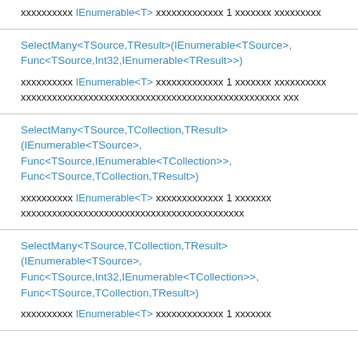xxxxxxxxxx IEnumerable<T> xxxxxxxxxxxxx 1 xxxxxxx xxxxxxxxx
SelectMany<TSource,TResult>(IEnumerable<TSource>, Func<TSource,Int32,IEnumerable<TResult>>)

xxxxxxxxxx IEnumerable<T> xxxxxxxxxxxxx 1 xxxxxxx xxxxxxxxxx xxxxxxxxxxxxxxxxxxxxxxxxxxxxxxxxxxxxxxxxxxxxxxxxxx xxx
SelectMany<TSource,TCollection,TResult>(IEnumerable<TSource>, Func<TSource,IEnumerable<TCollection>>, Func<TSource,TCollection,TResult>)

xxxxxxxxxx IEnumerable<T> xxxxxxxxxxxxx 1 xxxxxxx xxxxxxxxxxxxxxxxxxxxxxxxxxxxxxxxxxxxxxxxxxx
SelectMany<TSource,TCollection,TResult>(IEnumerable<TSource>, Func<TSource,Int32,IEnumerable<TCollection>>, Func<TSource,TCollection,TResult>)

xxxxxxxxxx IEnumerable<T> xxxxxxxxxxxxx 1 xxxxxxx